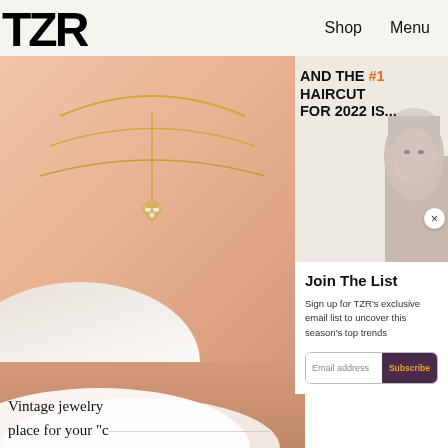TZR   Shop   Menu
[Figure (photo): Close-up photo of a person wearing layered gold necklaces with a pearl heart pendant, over a white garment]
AND THE #1 HAIRCUT FOR 2022 IS...
[Figure (photo): Grayscale photo of a woman's face with blonde hair (haircut preview)]
Join The List
Sign up for TZR's exclusive email list to uncover this season's top trends
Email address   Subscribe
Vintage jewelry place for your "...